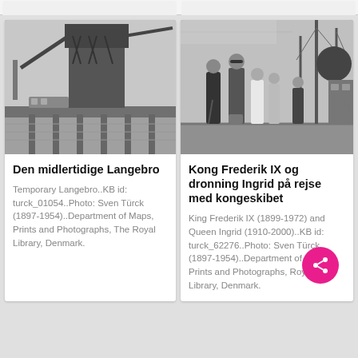[Figure (photo): Black and white photograph of the temporary Langebro bridge with a large crane structure visible, water below, and a tram/bus on the bridge.]
Den midlertidige Langebro
Temporary Langebro..KB id: turck_01054..Photo: Sven Türck (1897-1954)..Department of Maps, Prints and Photographs, The Royal Library, Denmark.
[Figure (photo): Black and white photograph of King Frederik IX and Queen Ingrid on board the royal ship, with several figures in formal attire visible on deck.]
Kong Frederik IX og dronning Ingrid på rejse med kongeskibet
King Frederik IX (1899-1972) and Queen Ingrid (1910-2000)..KB id: turck_62276..Photo: Sven Türck (1897-1954)..Department of Maps, Prints and Photographs, Royal Library, Denmark.